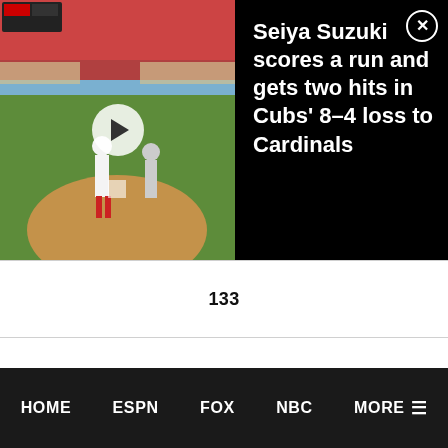[Figure (screenshot): Video thumbnail showing baseball game scene with play button overlay]
Seiya Suzuki scores a run and gets two hits in Cubs' 8-4 loss to Cardinals
| 133 |
| EUROPEAN QUALIFIER {live} |
| Thu 10/08/15 |
| 2:30 PM |
| 4:46 PM |
| 277 |
HOME   ESPN   FOX   NBC   MORE